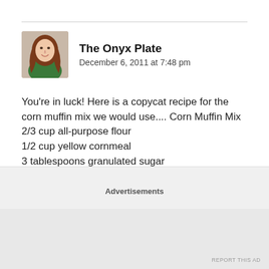[Figure (photo): Avatar photo of The Onyx Plate author — a woman with long brown hair wearing a green top, smiling]
The Onyx Plate
December 6, 2011 at 7:48 pm
You're in luck! Here is a copycat recipe for the corn muffin mix we would use.... Corn Muffin Mix
2/3 cup all-purpose flour
1/2 cup yellow cornmeal
3 tablespoons granulated sugar
1 tablespoon baking powder
1/4 teaspoon salt
2 tablespoons vegetable oil
Advertisements